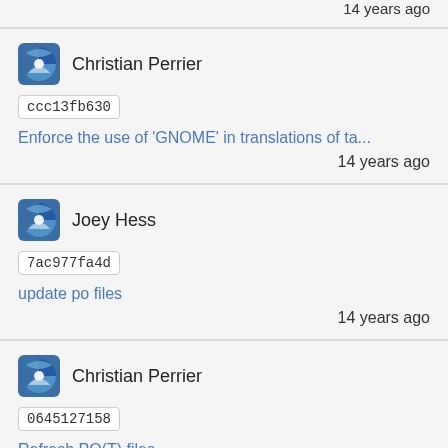14 years ago
Christian Perrier
ccc13fb630
Enforce the use of 'GNOME' in translations of ta...
14 years ago
Joey Hess
7ac977fa4d
update po files
14 years ago
Christian Perrier
0645127158
Refresh PO(T) files
14 years ago